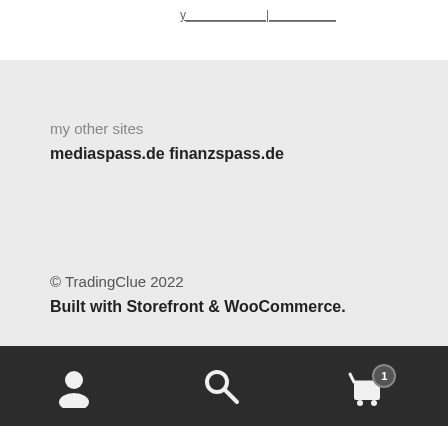my other sites
mediaspass.de finanzspass.de
© TradingClue 2022
Built with Storefront & WooCommerce.
[user icon] [search icon] [cart icon with badge 1]